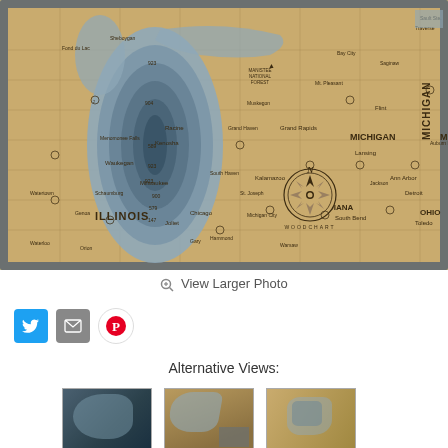[Figure (map): Wooden topographic chart/map of Lake Michigan and surrounding states (Illinois, Indiana, Michigan, Ohio, Wisconsin) with depth contours shown in layered wood tones of tan/beige and slate blue, framed in gray wood. Shows cities like Chicago, Milwaukee, Grand Rapids, Detroit, Toledo, South Bend, Kalamazoo, Flint, and depth markings. Features a decorative compass rose with 'WOODCHART' text in lower center.]
View Larger Photo
[Figure (infographic): Social sharing icons: Twitter (blue bird), Email (gray envelope), Pinterest (red P on white circle)]
Alternative Views:
[Figure (photo): Three thumbnail alternative view images of the wooden Lake Michigan map/chart product]